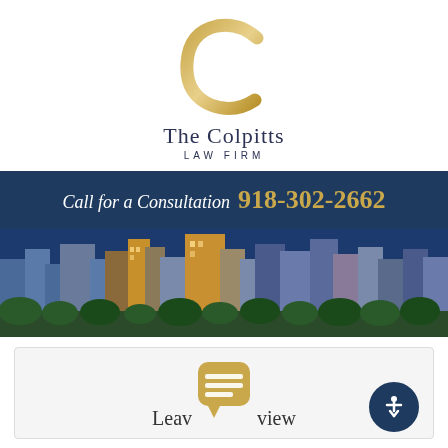[Figure (logo): The Colpitts Law Firm logo — a gold stylized letter C above the firm name]
Call for a Consultation  918-302-2662
[Figure (photo): City skyline panorama at dusk with blue overlay, showing tall buildings]
[Figure (infographic): Review widget area partially visible with a gold chat/review icon and 'Leave a review' text, with accessibility button in bottom right]